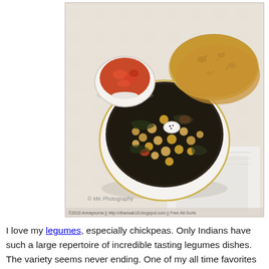[Figure (photo): Food photography showing a bowl of chana saag (chickpeas and spinach curry) in a white bowl with gold rim, a small bowl of tomato chutney in the background upper left, and naan bread upper right. Set on a white embroidered tablecloth with a white napkin. Watermark: © MK Photography. Copyright line at bottom.]
I love my legumes, especially chickpeas. Only Indians have such a large repertoire of incredible tasting legumes dishes. The variety seems never ending. One of my all time favorites